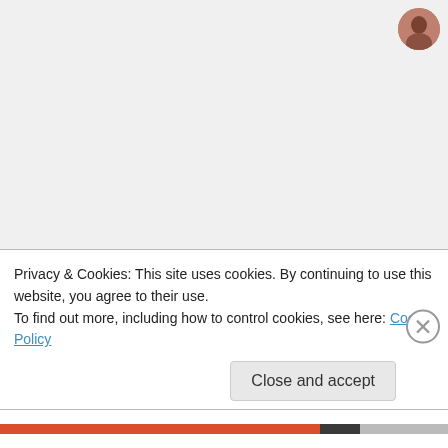[Figure (photo): Small circular avatar photo of a person]
Nurse Kelly
on October 13, 2015 at 8:53 am
Nothing like believing
Privacy & Cookies: This site uses cookies. By continuing to use this website, you agree to their use.
To find out more, including how to control cookies, see here: Cookie Policy
Close and accept